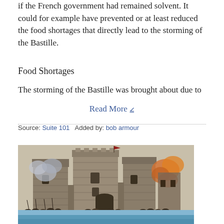if the French government had remained solvent. It could for example have prevented or at least reduced the food shortages that directly lead to the storming of the Bastille.
Food Shortages
The storming of the Bastille was brought about due to
Read More ▾
Source: Suite 101   Added by: bob armour
[Figure (illustration): Historical illustration of the storming of the Bastille fortress, showing stone towers with smoke and fire, and crowds of people with weapons in the foreground.]
[Figure (photo): Partial view of another image at the bottom of the page with blue tones, partially cut off.]